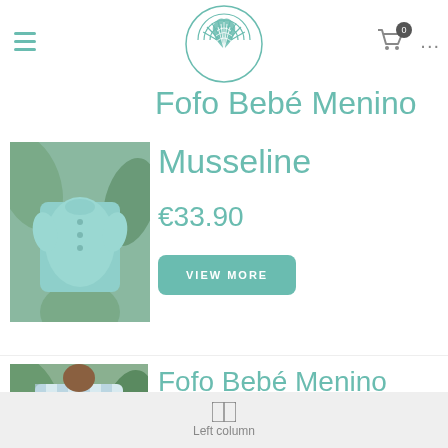[Figure (logo): Nino Concho brand logo — circular logo with teal shell/fan design and brand name]
[Figure (photo): Light teal/mint colored baby romper with buttons, displayed on greenery background]
Fofo Bebé Menino Musseline
Musseline
€33.90
VIEW MORE
[Figure (photo): Blue and white checkered baby dress/fofo from behind, child standing among green leaves]
Fofo Bebé Menino Xadrez
Left column